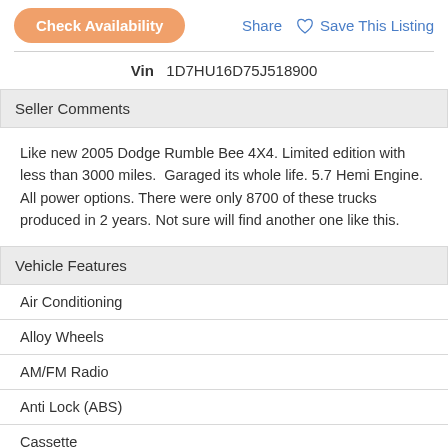Check Availability
Share   Save This Listing
Vin   1D7HU16D75J518900
Seller Comments
Like new 2005 Dodge Rumble Bee 4X4. Limited edition with less than 3000 miles.  Garaged its whole life. 5.7 Hemi Engine. All power options. There were only 8700 of these trucks produced in 2 years. Not sure will find another one like this.
Vehicle Features
Air Conditioning
Alloy Wheels
AM/FM Radio
Anti Lock (ABS)
Cassette
Cruise Control
Driver Air Bag
Passenger Air Bag